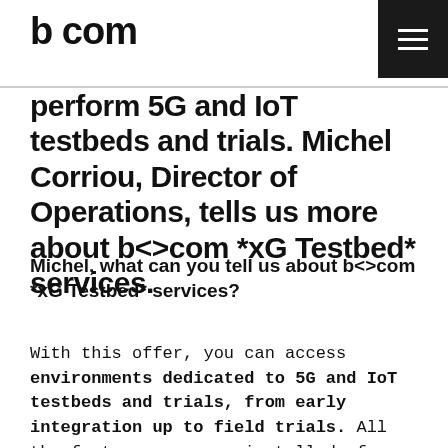b<>com
perform 5G and IoT testbeds and trials. Michel Corriou, Director of Operations, tells us more about b<>com *xG Testbed* services.
Michel, what can you tell us about b<>com *xG Testbed* services?
With this offer, you can access environments dedicated to 5G and IoT testbeds and trials, from early integration up to field trials. All the features are pre-installed, from the network core to the radio access. The testbed relies in-house infrastructure that includes a private cloud as well as interior and exterior radio access networks with Wi-Fi, 4G LTE, 5G...